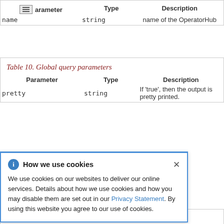Table 9. Global path parameters
| Parameter | Type | Description |
| --- | --- | --- |
| name | string | name of the OperatorHub |
Table 10. Global query parameters
| Parameter | Type | Description |
| --- | --- | --- |
| pretty | string | If 'true', then the output is pretty printed. |
How we use cookies
We use cookies on our websites to deliver our online services. Details about how we use cookies and how you may disable them are set out in our Privacy Statement. By using this website you agree to our use of cookies.
Table 11. Query parameters